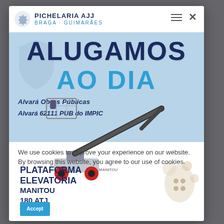[Figure (logo): Pichelaria AJJ logo with gear icon, company name and subtitle]
ALUGAMOS AO DIA
Alvará Obras Públicas
Alvará 62111 PUB do IMPIC
[Figure (photo): Manitou 180 ATJ aerial work platform / boom lift with red and grey coloring]
We use cookies to improve your experience on our website. By browsing this website, you agree to our use of cookies.
PLATAFORMA ELEVATÓRIA MANITOU 180 ATJ